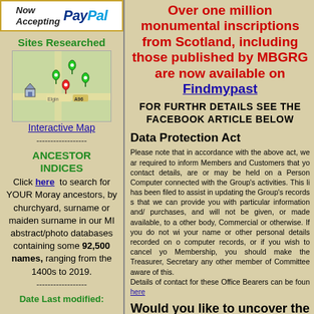[Figure (logo): PayPal Now Accepting banner with PayPal logo]
Sites Researched
[Figure (map): Interactive map showing Elgin area with green and red map pins and a house icon]
Interactive Map
----------------
ANCESTOR INDICES
Click here to search for YOUR Moray ancestors, by churchyard, surname or maiden surname in our MI abstract/photo databases containing some 92,500 names, ranging from the 1400s to 2019.
----------------
Date Last modified:
Over one million monumental inscriptions from Scotland, including those published by MBGRG are now available on Findmypast
FOR FURTHR DETAILS SEE THE FACEBOOK ARTICLE BELOW
Data Protection Act
Please note that in accordance with the above act, we are required to inform Members and Customers that your contact details, are or may be held on a Personal Computer connected with the Group's activities. This list has been filed to assist in updating the Group's records so that we can provide you with particular information and/or purchases, and will not be given, or made available, to any other body, Commercial or otherwise. If you do not wish your name or other personal details recorded on our computer records, or if you wish to cancel your Membership, you should make the Treasurer, Secretary or any other member of Committee aware of this. Details of contact for these Office Bearers can be found here
Would you like to uncover the forgotten, lost or hidden heritage and history of some of Moray's